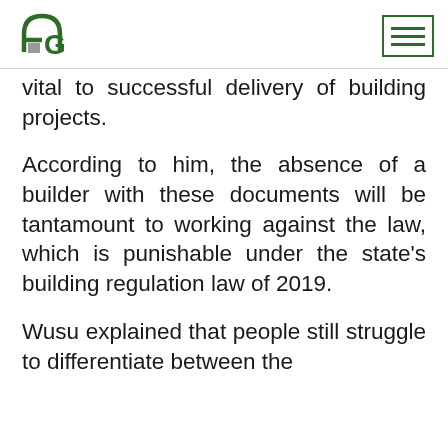[Figure (logo): AG logo — stylized letters A and G with an arch, in dark green and grey]
[Figure (other): Hamburger menu icon — three horizontal green lines inside a square border]
vital to successful delivery of building projects.
According to him, the absence of a builder with these documents will be tantamount to working against the law, which is punishable under the state's building regulation law of 2019.
Wusu explained that people still struggle to differentiate between the